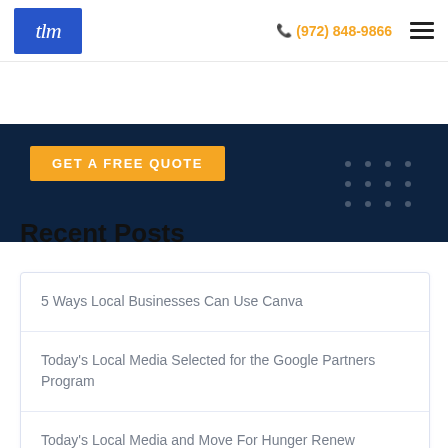tlm | (972) 848-9866
[Figure (screenshot): Dark navy hero banner with orange 'GET A FREE QUOTE' button]
Recent Posts
5 Ways Local Businesses Can Use Canva
Today's Local Media Selected for the Google Partners Program
Today's Local Media and Move For Hunger Renew Partnership in the Fight Against Hunger Nationwide